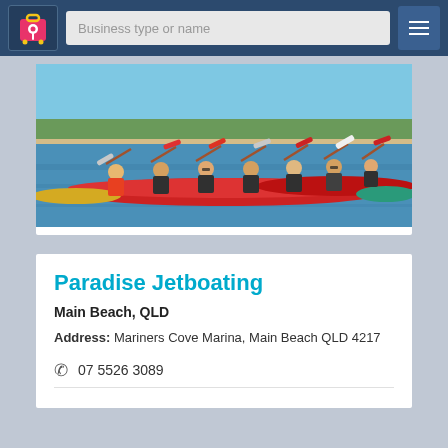Business type or name
[Figure (photo): Group of people kayaking in red kayaks on calm water, holding their paddles up, with a sandy shore and blue sky in the background]
Paradise Jetboating
Main Beach, QLD
Address: Mariners Cove Marina, Main Beach QLD 4217
07 5526 3089